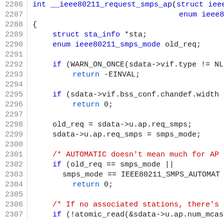[Figure (screenshot): Source code snippet showing C function __ieee80211_request_smps_ap with lines 2286-2307, with syntax highlighting: line numbers in grey, keywords in blue, comments in red, return values in blue.]